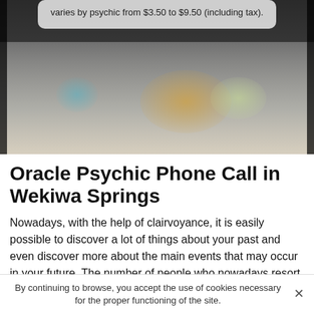varies by psychic from $3.50 to $9.50 (including tax).
[Figure (photo): Photo of crystals and flowers arranged on a surface, with a dark background. A tooltip box overlays the top portion showing pricing text.]
Oracle Psychic Phone Call in Wekiwa Springs
Nowadays, with the help of clairvoyance, it is easily possible to discover a lot of things about your past and even discover more about the main events that may occur in your future. The number of people who nowadays resort to clairvoyance is not negligible considering the panoply of
By continuing to browse, you accept the use of cookies necessary for the proper functioning of the site. ×